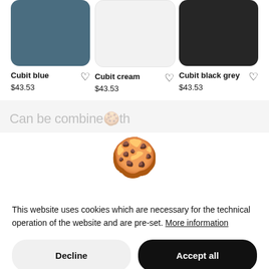[Figure (photo): Product swatch - Cubit blue color]
Cubit blue
$43.53
[Figure (photo): Product swatch - Cubit cream color]
Cubit cream
$43.53
[Figure (photo): Product swatch - Cubit black grey color]
Cubit black grey
$43.53
Can be combine...th
[Figure (illustration): Cookie emoji illustration]
This website uses cookies which are necessary for the technical operation of the website and are pre-set. More information
Decline
Accept all
Configure